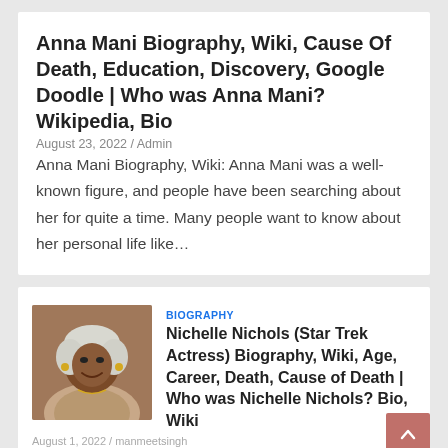Anna Mani Biography, Wiki, Cause Of Death, Education, Discovery, Google Doodle | Who was Anna Mani? Wikipedia, Bio
August 23, 2022 / Admin
Anna Mani Biography, Wiki: Anna Mani was a well-known figure, and people have been searching about her for quite a time. Many people want to know about her personal life like…
[Figure (photo): Photo of Nichelle Nichols, an older Black woman smiling, wearing earrings and a light-colored jacket]
BIOGRAPHY
Nichelle Nichols (Star Trek Actress) Biography, Wiki, Age, Career, Death, Cause of Death | Who was Nichelle Nichols? Bio, Wiki
August 1, 2022 / manmeetsingh
[Figure (infographic): Advertisement banner: WHEN REAL LIFE IS QUARANTINED | BitLife with colorful rainbow gradient background and emoji characters]
BIOGRAPHY